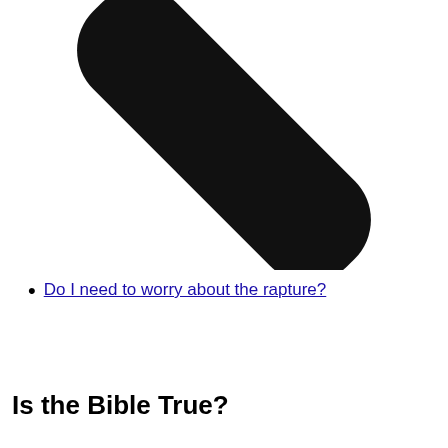[Figure (illustration): A large black diagonal rounded rectangular shape (resembling a thick marker or pen) oriented diagonally from upper-right to lower-left against a white background.]
Do I need to worry about the rapture?
Is the Bible True?